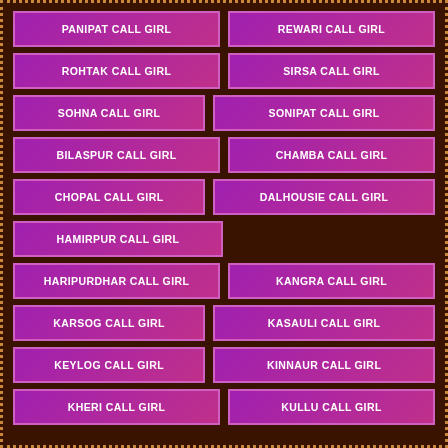PANIPAT CALL GIRL
REWARI CALL GIRL
ROHTAK CALL GIRL
SIRSA CALL GIRL
SOHNA CALL GIRL
SONIPAT CALL GIRL
BILASPUR CALL GIRL
CHAMBA CALL GIRL
CHOPAL CALL GIRL
DALHOUSIE CALL GIRL
HAMIRPUR CALL GIRL
HARIPURDHAR CALL GIRL
KANGRA CALL GIRL
KARSOG CALL GIRL
KASAULI CALL GIRL
KEYLOG CALL GIRL
KINNAUR CALL GIRL
KHERI CALL GIRL
KULLU CALL GIRL